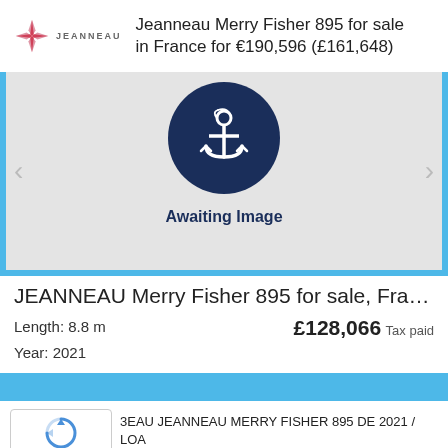Jeanneau Merry Fisher 895 for sale in France for €190,596 (£161,648)
[Figure (illustration): Awaiting Image placeholder with Jeanneau anchor logo on dark navy circle background]
JEANNEAU Merry Fisher 895 for sale, France
Length: 8.8 m
Year: 2021
£128,066  Tax paid
3EAU JEANNEAU MERRY FISHER 895 DE 2021 / LOA 3LE / MODELE 2021 AVEC SEULEMENT 19 HEURES...